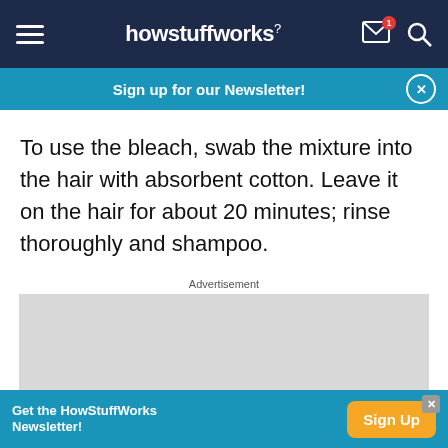howstuffworks
Sign up for our Newsletter!
To use the bleach, swab the mixture into the hair with absorbent cotton. Leave it on the hair for about 20 minutes; rinse thoroughly and shampoo.
Advertisement
[Figure (other): Grey advertisement placeholder box]
Get the HowStuffWorks Newsletter!